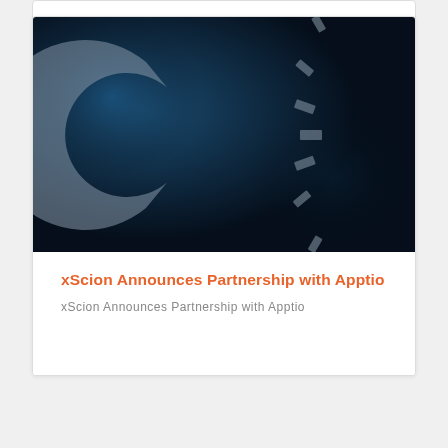[Figure (logo): Dark blue background image with a large semi-circular gear/cog logo in grey/slate tones, representing the xScion or Apptio brand mark]
xScion Announces Partnership with Apptio
xScion Announces Partnership with Apptio